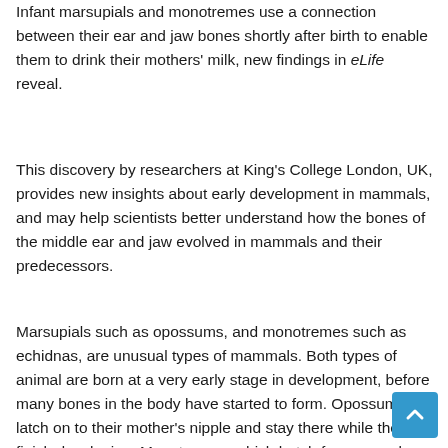Infant marsupials and monotremes use a connection between their ear and jaw bones shortly after birth to enable them to drink their mothers' milk, new findings in eLife reveal.
This discovery by researchers at King's College London, UK, provides new insights about early development in mammals, and may help scientists better understand how the bones of the middle ear and jaw evolved in mammals and their predecessors.
Marsupials such as opossums, and monotremes such as echidnas, are unusual types of mammals. Both types of animal are born at a very early stage in development, before many bones in the body have started to form. Opossums latch on to their mother's nipple and stay there while they finish developing. Monotremes, which hatch from eggs, lap milk collected near their mother's milk glands as they grow. But how they are able to drink the milk before their jaw joint is fully